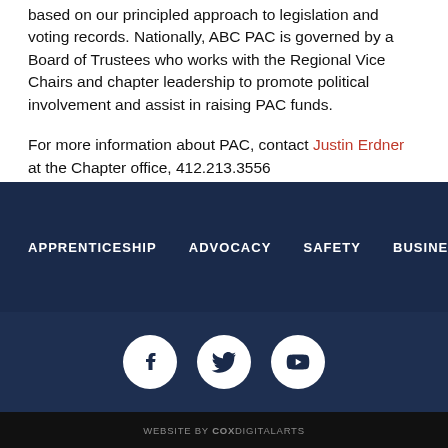based on our principled approach to legislation and voting records. Nationally, ABC PAC is governed by a Board of Trustees who works with the Regional Vice Chairs and chapter leadership to promote political involvement and assist in raising PAC funds.
For more information about PAC, contact Justin Erdner at the Chapter office, 412.213.3556
APPRENTICESHIP   ADVOCACY   SAFETY   BUSINESS DI
[Figure (other): Social media icons: Facebook, Twitter, YouTube — white icons on circular white backgrounds against dark navy background]
WEBSITE BY COXDIGITALARTS